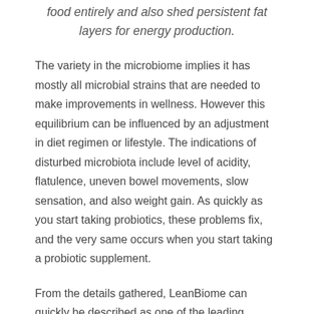food entirely and also shed persistent fat layers for energy production.
The variety in the microbiome implies it has mostly all microbial strains that are needed to make improvements in wellness. However this equilibrium can be influenced by an adjustment in diet regimen or lifestyle. The indications of disturbed microbiota include level of acidity, flatulence, uneven bowel movements, slow sensation, and also weight gain. As quickly as you start taking probiotics, these problems fix, and the very same occurs when you start taking a probiotic supplement.
From the details gathered, LeanBiome can quickly be described as one of the leading probiotic supplements these days, and also there are a lot of reasons to trust this item. As per the official web site, it manages mind as well as body control and also regulates the emotional as well as physical sides of obesity at the same time. The outcomes include a faster and much better weight